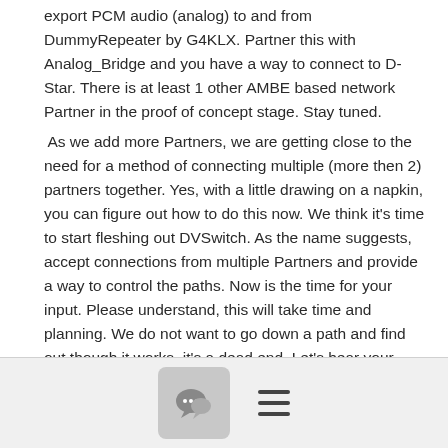export PCM audio (analog) to and from DummyRepeater by G4KLX. Partner this with Analog_Bridge and you have a way to connect to D-Star. There is at least 1 other AMBE based network Partner in the proof of concept stage. Stay tuned.
As we add more Partners, we are getting close to the need for a method of connecting multiple (more then 2) partners together. Yes, with a little drawing on a napkin, you can figure out how to do this now. We think it's time to start fleshing out DVSwitch. As the name suggests, accept connections from multiple Partners and provide a way to control the paths. Now is the time for your input. Please understand, this will take time and planning. We do not want to go down a path and find out though it works, it's a dead end. Let's hear your ideas. If you can code, preferably in Python we can use your help. There are quite a few things that can still be done to the existing programs. You help would be welcome.
I 'm make my usual plea. PLEASE change your display name on
[Figure (other): Bottom toolbar with a comment/chat bubble icon button and a hamburger menu icon]